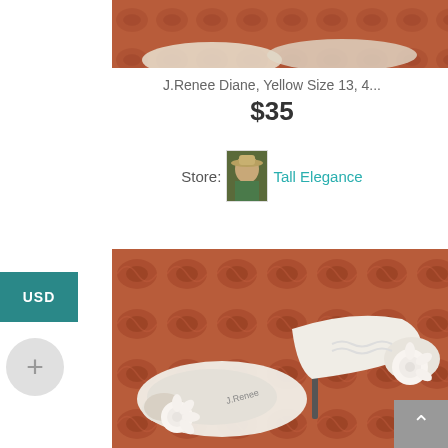[Figure (photo): Top partial photo of white high-heel shoes on a patterned rug background, cropped at the top]
J.Renee Diane, Yellow Size 13, 4...
$35
Store: Tall Elegance
[Figure (photo): Photo of white J.Renee peep-toe high-heel shoes with flower embellishment, on a patterned rug background]